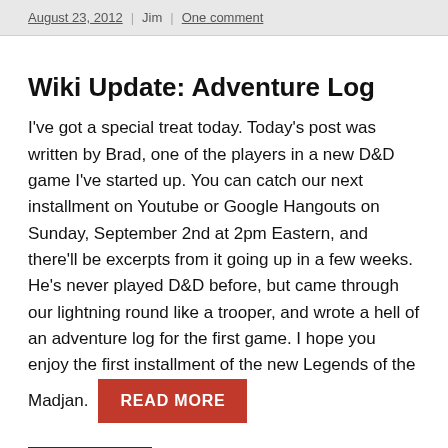August 23, 2012 | Jim | One comment
Wiki Update: Adventure Log
I've got a special treat today. Today's post was written by Brad, one of the players in a new D&D game I've started up. You can catch our next installment on Youtube or Google Hangouts on Sunday, September 2nd at 2pm Eastern, and there'll be excerpts from it going up in a few weeks. He's never played D&D before, but came through our lightning round like a trooper, and wrote a hell of an adventure log for the first game. I hope you enjoy the first installment of the new Legends of the Madjan. READ MORE
Wiki Updates